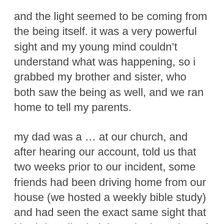and the light seemed to be coming from the being itself. it was a very powerful sight and my young mind couldn't understand what was happening, so i grabbed my brother and sister, who both saw the being as well, and we ran home to tell my parents.
my dad was a ... at our church, and after hearing our account, told us that two weeks prior to our incident, some friends had been driving home from our house (we hosted a weekly bible study) and had seen the exact same sight that i had described, right at the boundary of our property line. they described it as an angel, and their description fit mine exactly. i've never seen another angel right in the open like that, but i'll never forget it. and the image is as clear in my